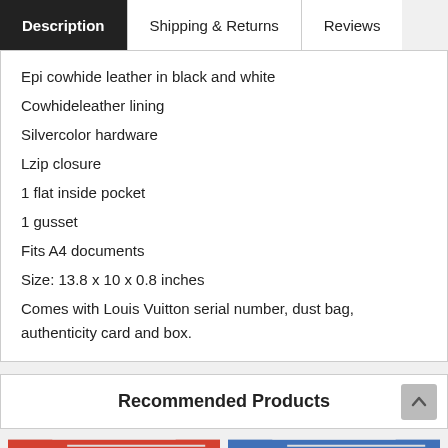Description | Shipping & Returns | Reviews
Epi cowhide leather in black and white
Cowhideleather lining
Silvercolor hardware
Lzip closure
1 flat inside pocket
1 gusset
Fits A4 documents
Size: 13.8 x 10 x 0.8 inches
Comes with Louis Vuitton serial number, dust bag, authenticity card and box.
Recommended Products
[Figure (photo): Red Louis Vuitton product with LV logo]
[Figure (photo): Blue Louis Vuitton product with LV logo]